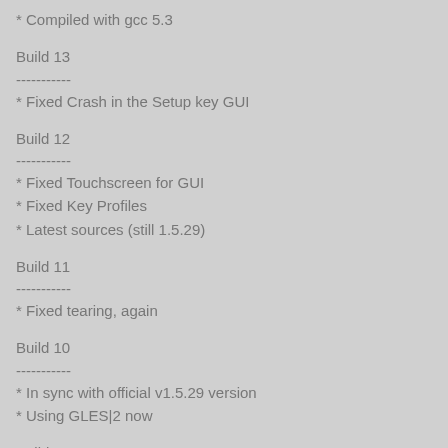* Compiled with gcc 5.3
Build 13
-----------
* Fixed Crash in the Setup key GUI
Build 12
-----------
* Fixed Touchscreen for GUI
* Fixed Key Profiles
* Latest sources (still 1.5.29)
Build 11
-----------
* Fixed tearing, again
Build 10
-----------
* In sync with official v1.5.29 version
* Using GLES|2 now
Build 09
-----------
* In sync with official v1.5.15 version
Build 08